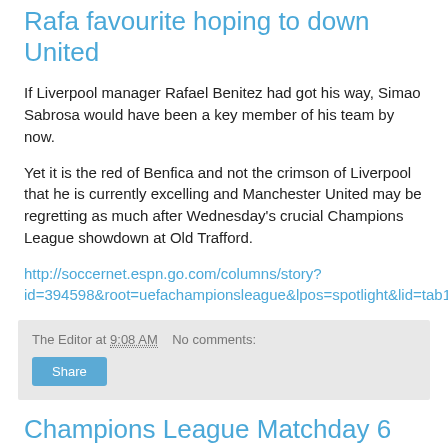Rafa favourite hoping to down United
If Liverpool manager Rafael Benitez had got his way, Simao Sabrosa would have been a key member of his team by now.
Yet it is the red of Benfica and not the crimson of Liverpool that he is currently excelling and Manchester United may be regretting as much after Wednesday's crucial Champions League showdown at Old Trafford.
http://soccernet.espn.go.com/columns/story?id=394598&root=uefachampionsleague&lpos=spotlight&lid=tab1pos3&cc=5901
The Editor at 9:08 AM   No comments:
Champions League Matchday 6 Preview: Groups A-D